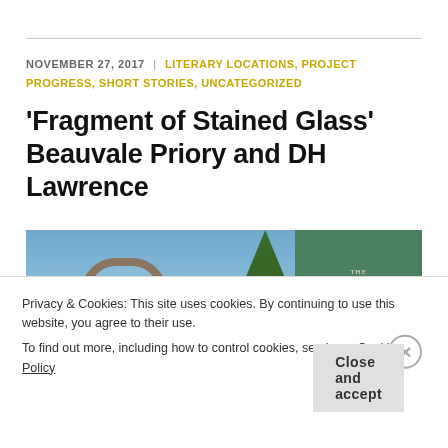NOVEMBER 27, 2017 | LITERARY LOCATIONS, PROJECT PROGRESS, SHORT STORIES, UNCATEGORIZED
'Fragment of Stained Glass' Beauvale Priory and DH Lawrence
[Figure (photo): Photo of ruins of Beauvale Priory with stone arch and walls against blue sky, overlaid with cover of The English Review magazine with green background]
Privacy & Cookies: This site uses cookies. By continuing to use this website, you agree to their use.
To find out more, including how to control cookies, see here: Cookie Policy
Close and accept